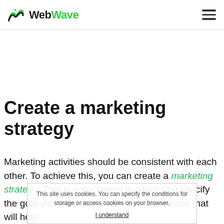WebWave
Create a marketing strategy
Marketing activities should be consistent with each other. To achieve this, you can create a marketing strategy. This is a document in which you specify the goal you want to achieve and the means that will help
This site uses cookies. You can specify the conditions for storage or access cookies on your browser.
I understand